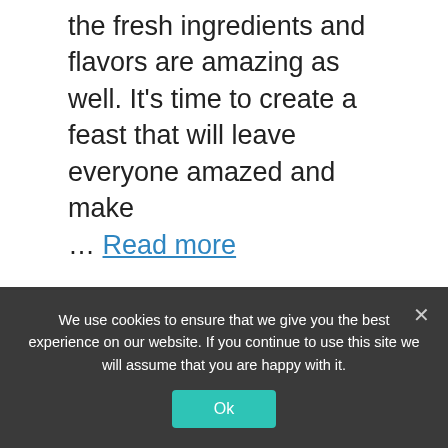the fresh ingredients and flavors are amazing as well. It's time to create a feast that will leave everyone amazed and make … Read more
Instant Pot
Coq, Instant, Pot, Vin
Leave a comment
Instant Pot Greek
We use cookies to ensure that we give you the best experience on our website. If you continue to use this site we will assume that you are happy with it.